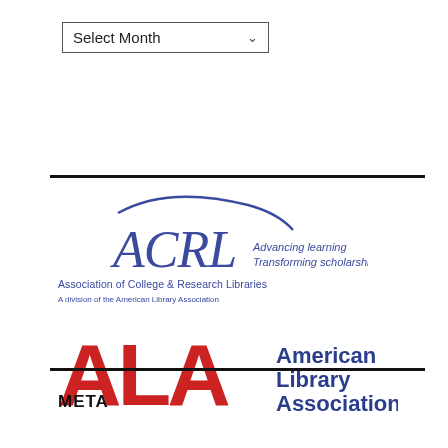Select Month
[Figure (logo): ACRL logo: Association of College & Research Libraries, A division of the American Library Association. Advancing learning, Transforming scholarship.]
[Figure (logo): ALA logo: American Library Association, with large red ALA letters and blue text.]
META